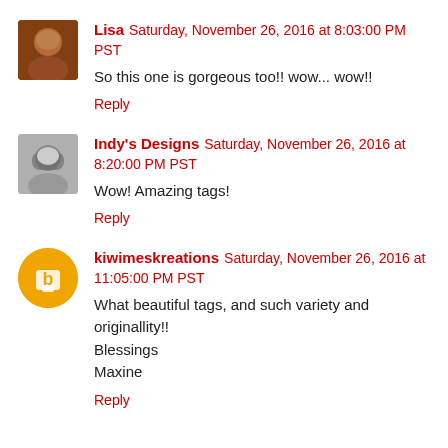Lisa Saturday, November 26, 2016 at 8:03:00 PM PST
So this one is gorgeous too!! wow... wow!!
Reply
Indy's Designs Saturday, November 26, 2016 at 8:20:00 PM PST
Wow! Amazing tags!
Reply
kiwimeskreations Saturday, November 26, 2016 at 11:05:00 PM PST
What beautiful tags, and such variety and originallity!!
Blessings
Maxine
Reply